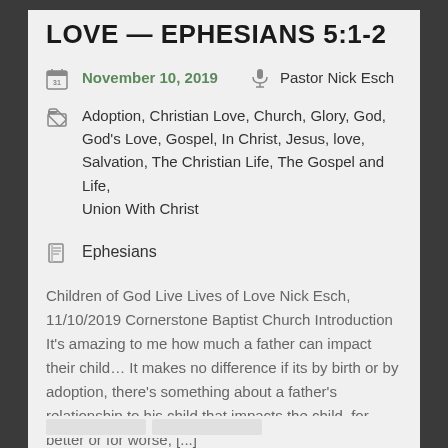LOVE — EPHESIANS 5:1-2
November 10, 2019   Pastor Nick Esch
Adoption, Christian Love, Church, Glory, God, God's Love, Gospel, In Christ, Jesus, love, Salvation, The Christian Life, The Gospel and Life, Union With Christ
Ephesians
Children of God Live Lives of Love Nick Esch, 11/10/2019 Cornerstone Baptist Church Introduction It's amazing to me how much a father can impact their child… It makes no difference if its by birth or by adoption, there's something about a father's relationship to his child that impacts the child, for better or for worse, [...]